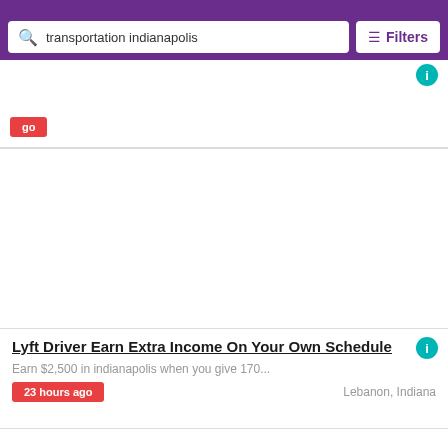Lyft Driver Part Time / Full Time
transportation indianapolis
Filters
Lyft Driver Earn Extra Income On Your Own Schedule
Earn $2,500 in indianapolis when you give 170...
23 hours ago
Lebanon, Indiana
Lyft Driver Part Time / Full Time
Earn $2,500 in indianapolis when you give 170...
23 hours ago
Dayton, Indiana
Save
Doordash Indianapolis Delivery Drivers Get Paid